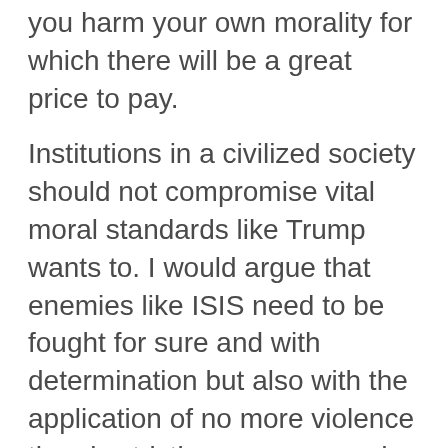you harm your own morality for which there will be a great price to pay.
Institutions in a civilized society should not compromise vital moral standards like Trump wants to. I would argue that enemies like ISIS need to be fought for sure and with determination but also with the application of no more violence than is strictly necessary and without breaking laws or moral codes which are essential to our civilization.
Also read:  Trump's escalating rhetoric resembles the methods dictators use